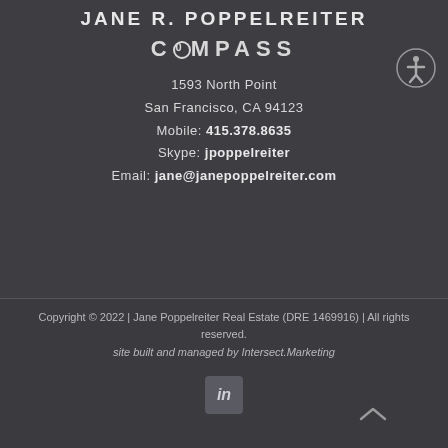JANE R. POPPELREITER
COMPASS
1593 North Point
San Francisco, CA 94123
Mobile: 415.378.8635
Skype: jpoppelreiter
Email: jane@janepoppelreiter.com
Copyright © 2022 | Jane Poppelreiter Real Estate (DRE 1469916) | All rights reserved.
site built and managed by Intersect.Marketing